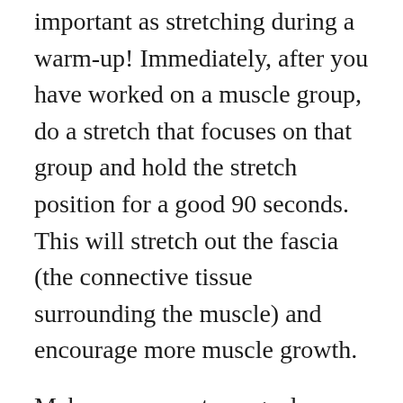important as stretching during a warm-up! Immediately, after you have worked on a muscle group, do a stretch that focuses on that group and hold the stretch position for a good 90 seconds. This will stretch out the fascia (the connective tissue surrounding the muscle) and encourage more muscle growth.
Make your near-term goals realistic. You are dreaming if you hope to squat four hundred pounds within your first month and overreaching is a main injury source. First, find out what your current level of strength is. Once you've determined this, set a goal that involves improving your current level a little bit. Don't be